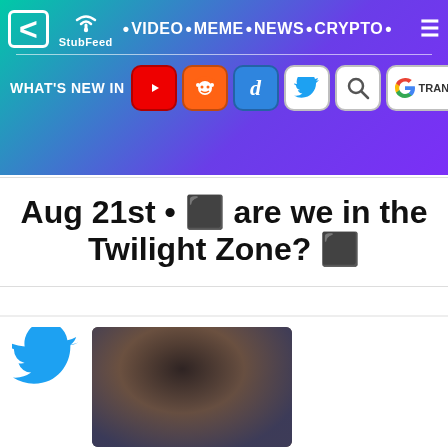StubFeed · VIDEO · MEME · NEWS · CRYPTO
WHAT'S NEW IN [YouTube] [Reddit] [Digg] [Twitter] [Search] [G TRANSLATE]
Aug 21st • 🌑 are we in the Twilight Zone? 🌑
[Figure (screenshot): Twitter card with Twitter bird logo on left and a blurry dark image of a person outdoors on the right]
Aug 21st • I am really